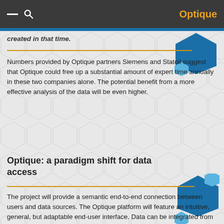Optique
created in that time.
Numbers provided by Optique partners Siemens and Statoil suggest that Optique could free up a substantial amount of expert time annually in these two companies alone. The potential benefit from a more effective analysis of the data will be even higher.
Optique: a paradigm shift for data access
The project will provide a semantic end-to-end connection between users and data sources. The Optique platform will feature an intuitive, general, but adaptable end-user interface. Data can be integrated from multiple, also streaming, data sources, with the possibility for